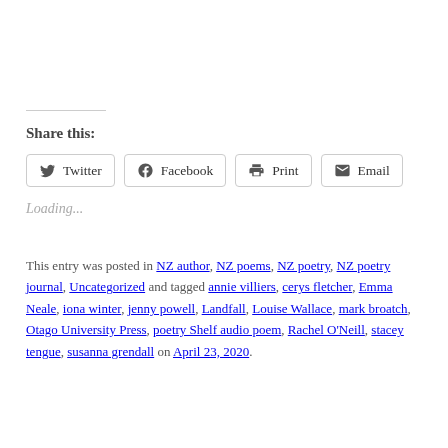Share this:
Twitter  Facebook  Print  Email
Loading...
This entry was posted in NZ author, NZ poems, NZ poetry, NZ poetry journal, Uncategorized and tagged annie villiers, cerys fletcher, Emma Neale, iona winter, jenny powell, Landfall, Louise Wallace, mark broatch, Otago University Press, poetry Shelf audio poem, Rachel O'Neill, stacey tengue, susanna grendall on April 23, 2020.